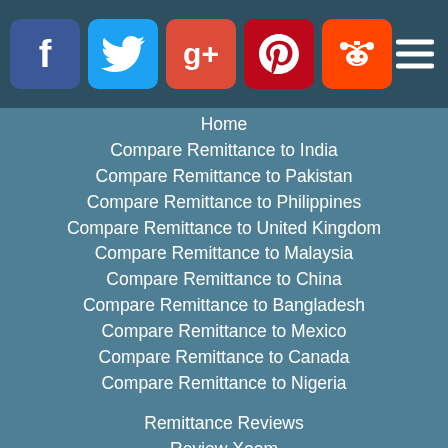[Figure (screenshot): Header bar with social media icons: Facebook (blue), Twitter (light blue), Google+ (red), Pinterest (dark red), Reddit (orange), and a hamburger menu icon on the right]
Home
Compare Remittance to India
Compare Remittance to Pakistan
Compare Remittance to Philippines
Compare Remittance to United Kingdom
Compare Remittance to Malaysia
Compare Remittance to China
Compare Remittance to Bangladesh
Compare Remittance to Mexico
Compare Remittance to Canada
Compare Remittance to Nigeria
Remittance Reviews
Review Xoom
Review Remitly
Review RIA Money Transfer
Review Usforex
Review Western Union
Review Transfast
Review Transferwise